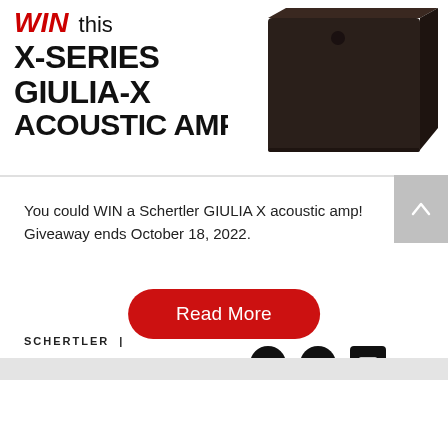[Figure (photo): Dark brown/black rectangular speaker box (X-Series Giulia-X Acoustic Amp) shown at an angle against white background]
WIN this X-SERIES GIULIA-X ACOUSTIC AMP
You could WIN a Schertler GIULIA X acoustic amp! Giveaway ends October 18, 2022.
Read More
SCHERTLER |
GIVEAWAYS
LATEST